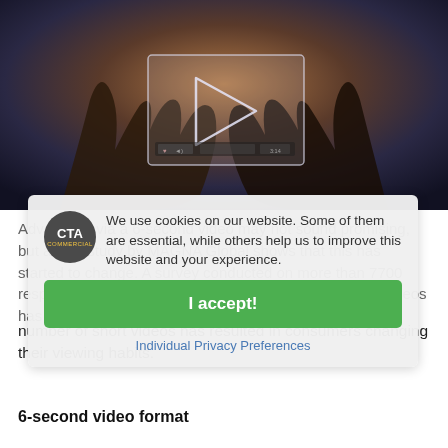[Figure (photo): Photo of hands holding a transparent/glass play button (video player interface) against a dark blurred background, simulating watching video content.]
Advertising via a 6-second video may not sound promising, but a new study by MAGNA Global shows that this has started to change. A survey conducted on more than 7700 respondents shows that an increasing number of short videos has resulted in consumers changing their viewing habits.
6-second video format
We use cookies on our website. Some of them are essential, while others help us to improve this website and your experience.
I accept!
Individual Privacy Preferences